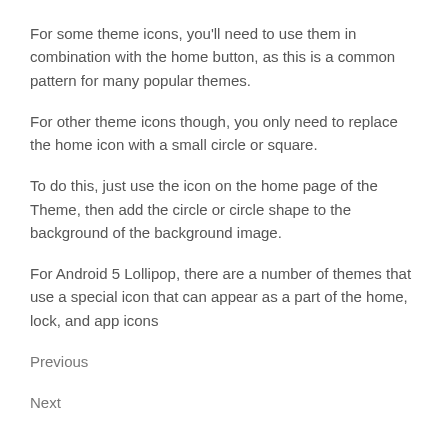For some theme icons, you'll need to use them in combination with the home button, as this is a common pattern for many popular themes.
For other theme icons though, you only need to replace the home icon with a small circle or square.
To do this, just use the icon on the home page of the Theme, then add the circle or circle shape to the background of the background image.
For Android 5 Lollipop, there are a number of themes that use a special icon that can appear as a part of the home, lock, and app icons
Previous
Next